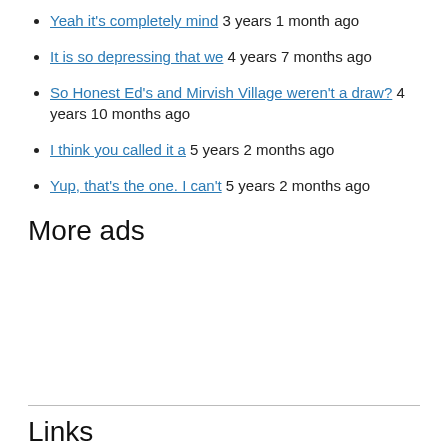Yeah it's completely mind 3 years 1 month ago
It is so depressing that we 4 years 7 months ago
So Honest Ed's and Mirvish Village weren't a draw? 4 years 10 months ago
I think you called it a 5 years 2 months ago
Yup, that's the one. I can't 5 years 2 months ago
More ads
Links